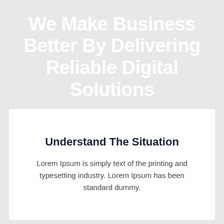We Make Business Better By Delivering Reliable Digital Solutions
Understand The Situation
Lorem Ipsum is simply text of the printing and typesetting industry. Lorem Ipsum has been standard dummy.